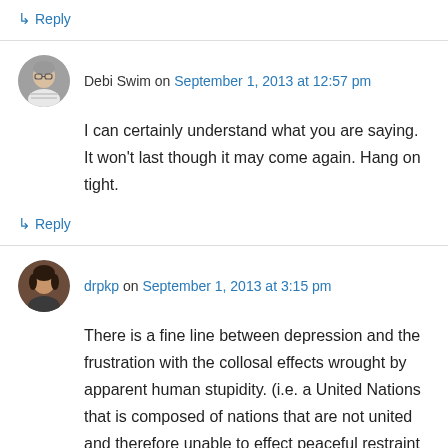↳ Reply
Debi Swim on September 1, 2013 at 12:57 pm
I can certainly understand what you are saying. It won't last though it may come again. Hang on tight.
↳ Reply
drpkp on September 1, 2013 at 3:15 pm
There is a fine line between depression and the frustration with the collosal effects wrought by apparent human stupidity. (i.e. a United Nations that is composed of nations that are not united and therefore unable to effect peaceful restraint